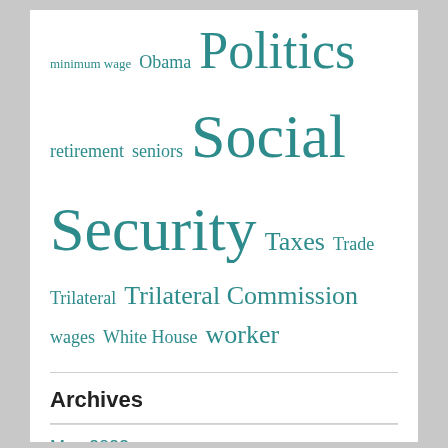minimum wage  Obama  Politics  retirement  seniors  Social Security  Taxes  Trade  Trilateral  Trilateral Commission  wages  White House  worker
Archives
May 2022
April 2022
March 2022
February 2022